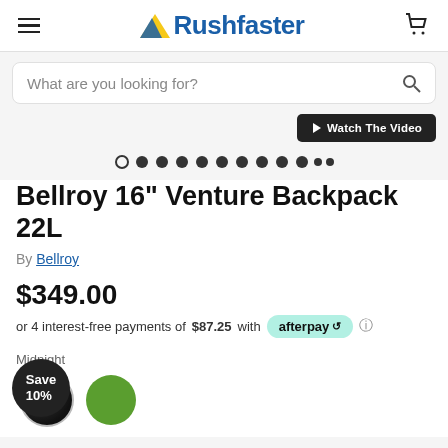Rushfaster
What are you looking for?
Watch The Video
Bellroy 16" Venture Backpack 22L
By Bellroy
$349.00
or 4 interest-free payments of $87.25 with afterpay
Midnight
Save 10%